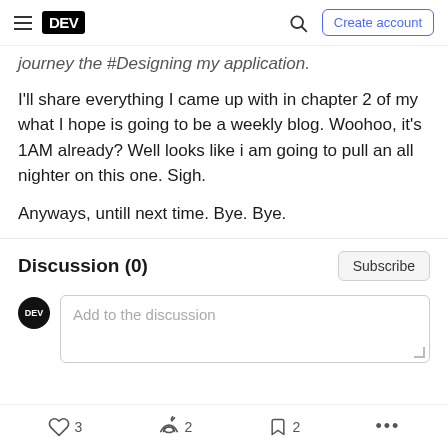DEV — Create account
journey the #Designing my application.
I'll share everything I came up with in chapter 2 of my what I hope is going to be a weekly blog. Woohoo, it's 1AM already? Well looks like i am going to pull an all nighter on this one. Sigh.
Anyways, untill next time. Bye. Bye.
Discussion (0)
Add to the discussion